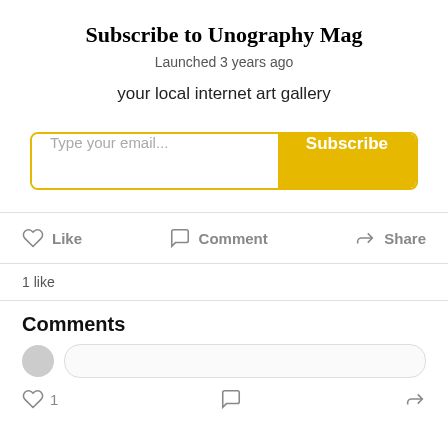Subscribe to Unography Mag
Launched 3 years ago
your local internet art gallery
[Figure (screenshot): Email subscription form with a text input labeled 'Type your email...' and a yellow 'Subscribe' button]
Like   Comment   Share
1 like
Comments
[Figure (screenshot): Comment input row with avatar placeholder and rounded input box, and a bottom action row with like (1), comment, and share icons]